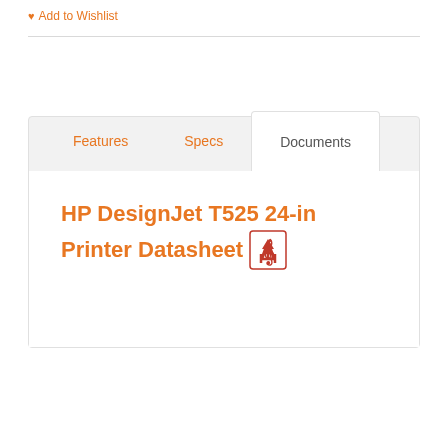Add to Wishlist
HP DesignJet T525 24-in Printer Datasheet